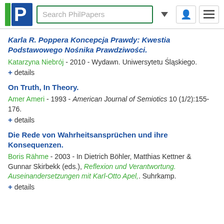[Figure (logo): PhilPapers logo with green bar and blue P, search bar, and navigation icons]
Karla R. Poppera Koncepcja Prawdy: Kwestia Podstawowego Nośnika Prawdziwości.
Katarzyna Niebrój - 2010 - Wydawn. Uniwersytetu Śląskiego.
+ details
On Truth, In Theory.
Amer Ameri - 1993 - American Journal of Semiotics 10 (1/2):155-176.
+ details
Die Rede von Wahrheitsansprüchen und ihre Konsequenzen.
Boris Rähme - 2003 - In Dietrich Böhler, Matthias Kettner & Gunnar Skirbekk (eds.), Reflexion und Verantwortung. Auseinandersetzungen mit Karl-Otto Apel,. Suhrkamp.
+ details